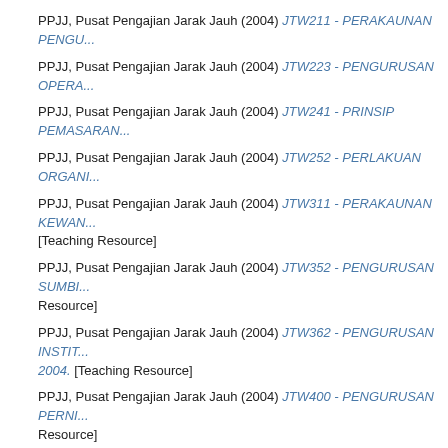PPJJ, Pusat Pengajian Jarak Jauh (2004) JTW211 - PERAKAUNAN PENGU...
PPJJ, Pusat Pengajian Jarak Jauh (2004) JTW223 - PENGURUSAN OPERA...
PPJJ, Pusat Pengajian Jarak Jauh (2004) JTW241 - PRINSIP PEMASARAN...
PPJJ, Pusat Pengajian Jarak Jauh (2004) JTW252 - PERLAKUAN ORGANI...
PPJJ, Pusat Pengajian Jarak Jauh (2004) JTW311 - PERAKAUNAN KEWAN... [Teaching Resource]
PPJJ, Pusat Pengajian Jarak Jauh (2004) JTW352 - PENGURUSAN SUMBI... Resource]
PPJJ, Pusat Pengajian Jarak Jauh (2004) JTW362 - PENGURUSAN INSTIT... 2004. [Teaching Resource]
PPJJ, Pusat Pengajian Jarak Jauh (2004) JTW400 - PENGURUSAN PERNI... Resource]
PPJJ, Pusat Pengajian Jarak Jauh (2004) JTW402 - PENGURUSAN STRAT...
PPJJ, Pusat Pengajian Jarak Jauh (2003) JUE 102 - BAHASA INGGERIS I A...
PPJJ, Pusat Pengajian Jarak Jauh (2003) JUE 201- BAHASA INGGERIS II A...
PPJJ, Pusat Pengajian Jarak Jauh (2003) JUE 301 - BAHASA INGGERIS III...
PPJJ, Pusat Pengajian Jarak Jauh (2003) JUE 301- BAHASA INGGERIS III...
PPJJ, Pusat Pengajian Jarak Jauh (2003) JUE 401- BAHASA INGGERIS IV...